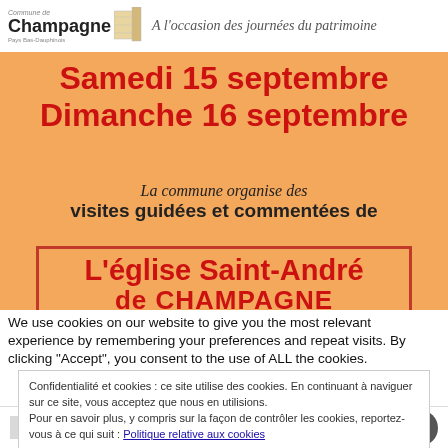[Figure (illustration): Flyer for guided visits of L'église Saint-André de Champagne. Orange background with red bold text showing dates Samedi 15 septembre and Dimanche 16 septembre. Includes Commune de Champagne logo at top left and italic subtitle 'A l'occasion des journées du patrimoine'. Body text promotes guided church visits. Church name shown in red bold inside a red-bordered box.]
We use cookies on our website to give you the most relevant experience by remembering your preferences and repeat visits. By clicking "Accept", you consent to the use of ALL the cookies.
Confidentialité et cookies : ce site utilise des cookies. En continuant à naviguer sur ce site, vous acceptez que nous en utilisions. Pour en savoir plus, y compris sur la façon de contrôler les cookies, reportez-vous à ce qui suit : Politique relative aux cookies
REJECT  Fermer et accepter  Read More